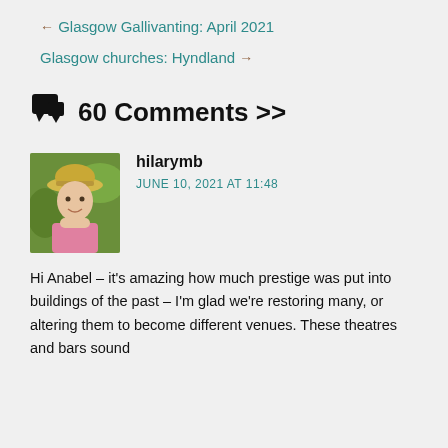← Glasgow Gallivanting: April 2021
Glasgow churches: Hyndland →
60 Comments >>
hilarymb
JUNE 10, 2021 AT 11:48
Hi Anabel – it's amazing how much prestige was put into buildings of the past – I'm glad we're restoring many, or altering them to become different venues. These theatres and bars sound